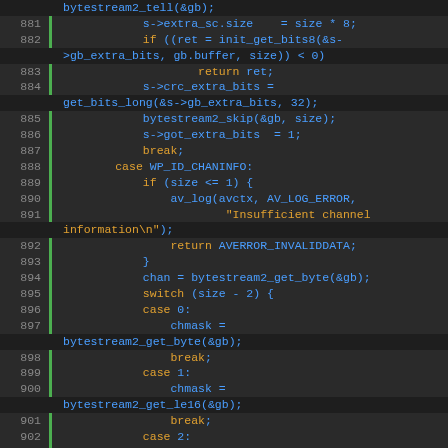[Figure (screenshot): Source code viewer showing C code lines 881-906 with syntax highlighting. Line numbers in left gutter with green vertical bar. Keywords in orange, identifiers/functions in blue, plain code in light color on dark background.]